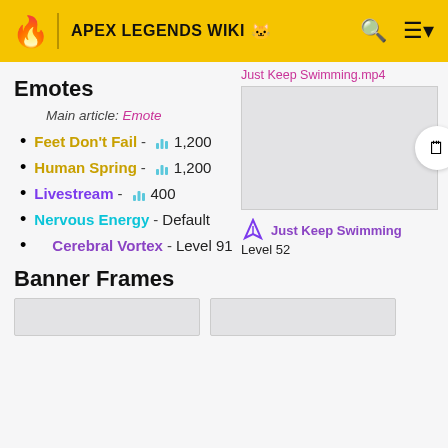APEX LEGENDS WIKI
Just Keep Swimming.mp4
[Figure (screenshot): Video player placeholder box for Just Keep Swimming emote]
Just Keep Swimming
Level 52
Emotes
Main article: Emote
Feet Don't Fail - 1,200
Human Spring - 1,200
Livestream - 400
Nervous Energy - Default
Cerebral Vortex - Level 91
Banner Frames